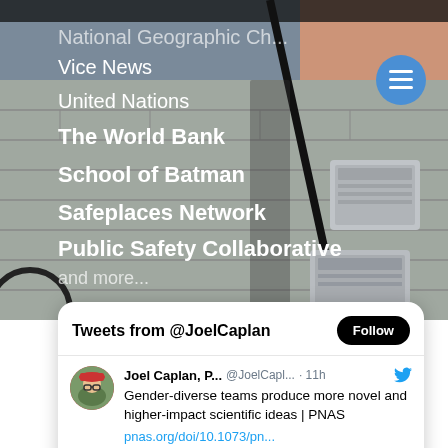[Figure (photo): Background photo of a brick and concrete block building exterior wall with air conditioning units and electrical conduit pipe]
National Geographic Ch...
Vice News
United Nations
The World Bank
School of Batman
Safeplaces Network
Public Safety Collaborative
and more...
Tweets from @JoelCaplan
Joel Caplan, P... @JoelCapl... · 11h  Gender-diverse teams produce more novel and higher-impact scientific ideas | PNAS pnas.org/doi/10.1073/pn...